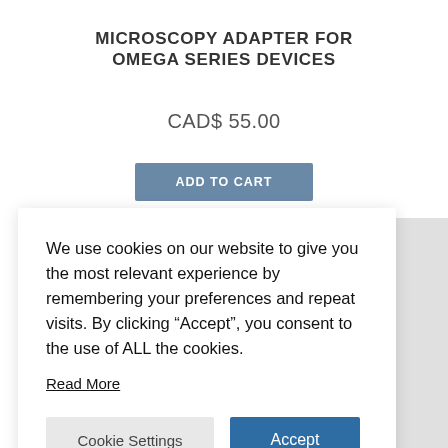MICROSCOPY ADAPTER FOR OMEGA SERIES DEVICES
CAD$ 55.00
ADD TO CART
We use cookies on our website to give you the most relevant experience by remembering your preferences and repeat visits. By clicking “Accept”, you consent to the use of ALL the cookies.
Read More
Cookie Settings
Accept